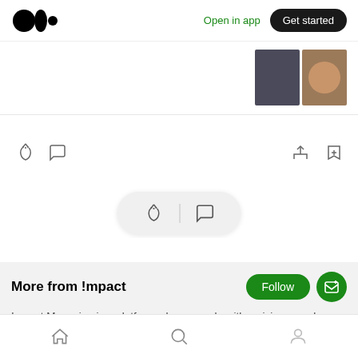[Figure (screenshot): Medium app top navigation bar with Medium logo (three dots), 'Open in app' link in green, and 'Get started' black pill button]
[Figure (screenshot): Partial article card with two thumbnail images on the right (dark portrait and colorful image)]
[Figure (screenshot): Article action bar with clap icon, comment icon on left, share and bookmark-plus icons on right]
[Figure (screenshot): Floating pill widget with clap and comment icons]
More from !mpact
!mpact Magazine is a platform where people with a vision can share their ideas and insights.
[Figure (screenshot): Bottom navigation bar with home, search, and profile icons]